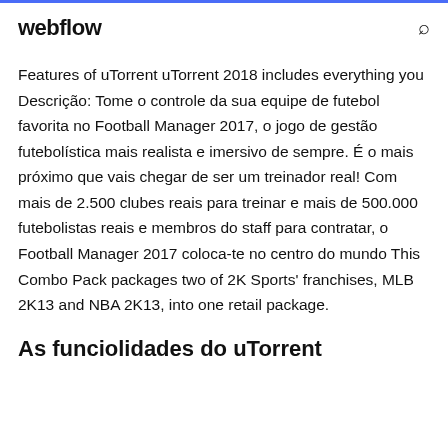webflow
Features of uTorrent uTorrent 2018 includes everything you Descrição: Tome o controle da sua equipe de futebol favorita no Football Manager 2017, o jogo de gestão futebolística mais realista e imersivo de sempre. É o mais próximo que vais chegar de ser um treinador real! Com mais de 2.500 clubes reais para treinar e mais de 500.000 futebolistas reais e membros do staff para contratar, o Football Manager 2017 coloca-te no centro do mundo This Combo Pack packages two of 2K Sports' franchises, MLB 2K13 and NBA 2K13, into one retail package.
As funciolidades do uTorrent